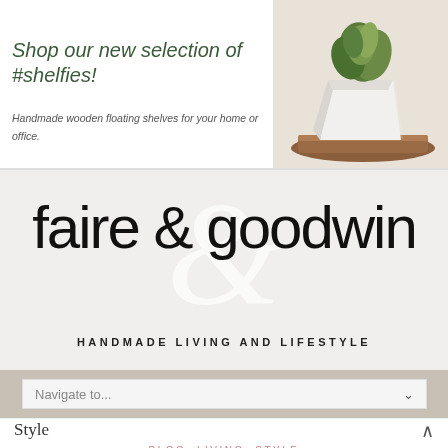[Figure (photo): Promotional banner with a white geometric succulent planter on a wooden tray, photographed from the right side of the banner.]
Shop our new selection of #shelfies!
Handmade wooden floating shelves for your home or office.
[Figure (logo): faire & goodwin logo in large script font with a large decorative ampersand in the background and tagline HANDMADE LIVING AND LIFESTYLE below.]
Navigate to...
Style
BLOG, LIVING, STYLE